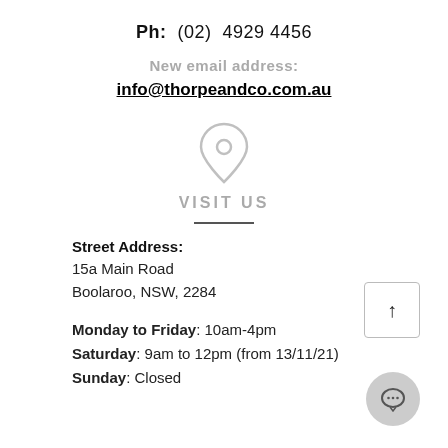Ph: (02) 4929 4456
New email address:
info@thorpeandco.com.au
[Figure (illustration): Location pin icon (map marker) in light grey outline style]
VISIT US
Street Address:
15a Main Road
Boolaroo, NSW, 2284
Monday to Friday: 10am-4pm
Saturday: 9am to 12pm (from 13/11/21)
Sunday: Closed